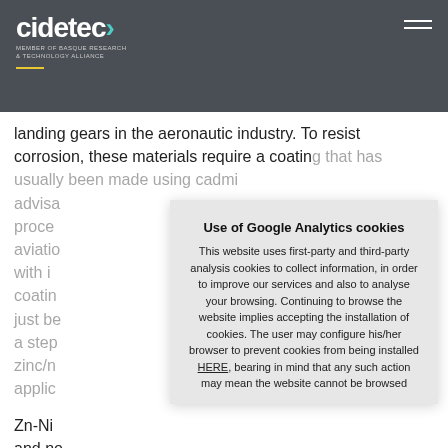cidetec> MEMBER OF BASQUE RESEARCH & TECHNOLOGY ALLIANCE
landing gears in the aeronautic industry. To resist corrosion, these materials require a coating that has usually been made using cadmi... advisa... proce... aviatio... with i... coatin... just be... a step... zinc/n... applic...
Zn-Ni... and no... H2Fre...
Use of Google Analytics cookies
This website uses first-party and third-party analysis cookies to collect information, in order to improve our services and also to analyse your browsing. Continuing to browse the website implies accepting the installation of cookies. The user may configure his/her browser to prevent cookies from being installed HERE, bearing in mind that any such action may mean the website cannot be browsed